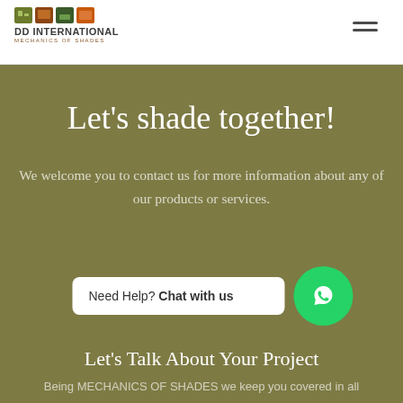[Figure (logo): DD International Mechanics of Shades logo with colored square icons and company name]
Let's shade together!
We welcome you to contact us for more information about any of our products or services.
[Figure (infographic): WhatsApp chat widget with text 'Need Help? Chat with us' and green WhatsApp button]
Let's Talk About Your Project
Being MECHANICS OF SHADES we keep you covered in all